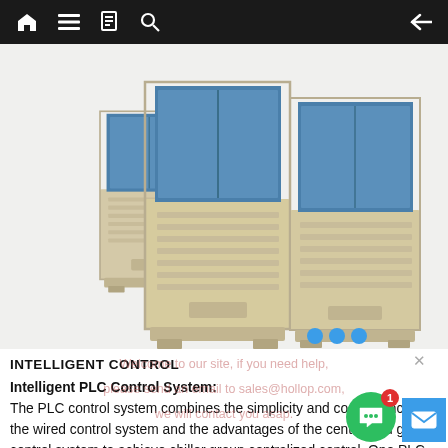[Figure (photo): Multiple modular chiller units arranged in a group, shown from a front-side angle. Units have blue paneling on top and beige/tan lower sections.]
INTELLIGENT CONTROL
Intelligent PLC Control System:
The PLC control system combines the simplicity and convenience of the wired control system and the advantages of the centralized group control system to achieve chiller group centralized control. One PLC control system can manage 1 to 8 groups. Each group can control 1 to 16 pieces of modular chillers. The system can control up to 128 modular chillers. The control